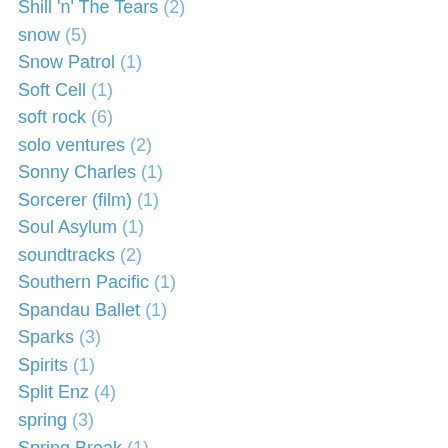Shill 'n' The Tears (2)
snow (5)
Snow Patrol (1)
Soft Cell (1)
soft rock (6)
solo ventures (2)
Sonny Charles (1)
Sorcerer (film) (1)
Soul Asylum (1)
soundtracks (2)
Southern Pacific (1)
Spandau Ballet (1)
Sparks (3)
Spirits (1)
Split Enz (4)
spring (3)
Spring Break (1)
spurious accusations (2)
Spys (1)
Squeeze (3)